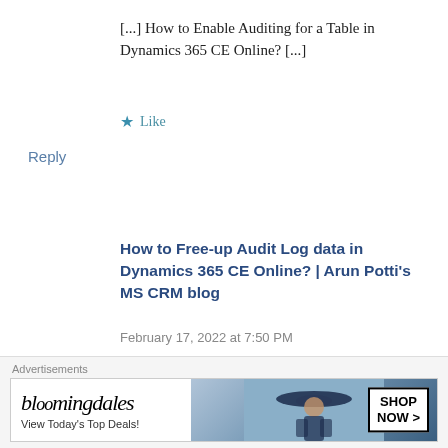[...] How to Enable Auditing for a Table in Dynamics 365 CE Online? [...]
Like
Reply
How to Free-up Audit Log data in Dynamics 365 CE Online? | Arun Potti's MS CRM blog
February 17, 2022 at 7:50 PM
[...] How to Enable Auditing for a Table in Dynamics 365 CE Online? [...]
Advertisements
[Figure (infographic): Bloomingdale's advertisement banner with logo, 'View Today's Top Deals!' text, image of woman with hat, and 'SHOP NOW >' button]